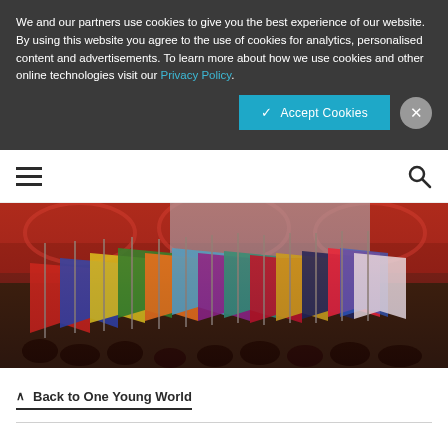We and our partners use cookies to give you the best experience of our website. By using this website you agree to the use of cookies for analytics, personalised content and advertisements. To learn more about how we use cookies and other online technologies visit our Privacy Policy.
[Figure (screenshot): Cookie consent banner with Accept Cookies button and close X button]
[Figure (photo): Crowd of people waving colorful international flags inside a large ornate red venue (appears to be the Royal Albert Hall), with vibrant lighting]
Back to One Young World